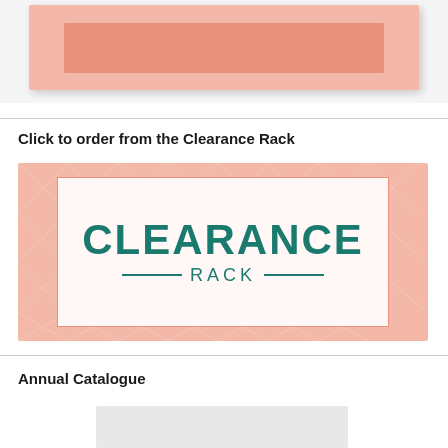[Figure (illustration): Cropped pink/salmon promotional banner at top of page, partially visible]
Click to order from the Clearance Rack
[Figure (illustration): Clearance Rack promotional banner image with pink/salmon geometric patterned background and white inner box containing teal text 'CLEARANCE RACK']
Annual Catalogue
[Figure (illustration): Partially visible Annual Catalogue banner at bottom of page, cropped]